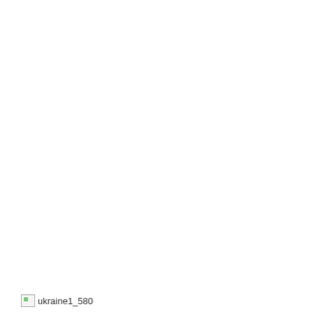[Figure (photo): Broken image placeholder labeled ukraine1_580]
New York/Kyiv, 07 Apr (H.S.). Russia is set to be suspended from the United Nations Human Rights Council for raising international pressure on the 43rd day of Russia’s attack on Ukraine. It is to be voted on Thursday in the United Nations General Assembly. Meanwhile, Russian soldiers have been accused of killing more than 5,000 civilians in the Ukrainian city